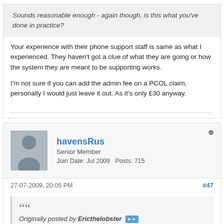Sounds reasonable enough - again though, is this what you've done in practice?
Your experience with their phone support staff is same as what I experienced. They haven't got a clue of what they are going or how the system they are meant to be supporting works.
I'm not sure if you can add the admin fee on a PCOL claim, personally I would just leave it out. As it's only £30 anyway.
havensRus
Senior Member
Join Date: Jul 2009   Posts: 715
27-07-2009, 20:05 PM
#47
Originally posted by Ericthelobster ▶▶
Can you confirm that you've done this successfully with PCOL? We're only talking 30 quids-worth of fees, so I don't